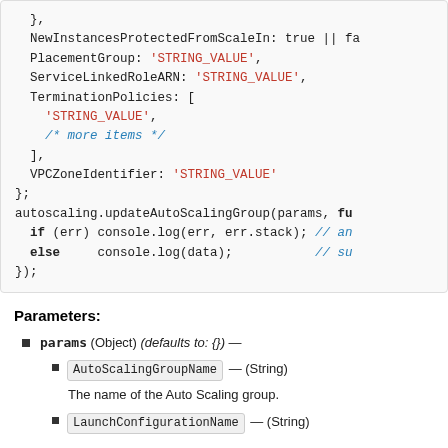[Figure (screenshot): Code block showing JavaScript AWS AutoScaling updateAutoScalingGroup params object with properties: NewInstancesProtectedFromScaleIn, PlacementGroup, ServiceLinkedRoleARN, TerminationPolicies array with STRING_VALUE and more items comment, VPCZoneIdentifier, closing brace, autoscaling.updateAutoScalingGroup call with if/else console.log statements.]
Parameters:
params (Object) (defaults to: {}) —
AutoScalingGroupName — (String)
The name of the Auto Scaling group.
LaunchConfigurationName — (String)